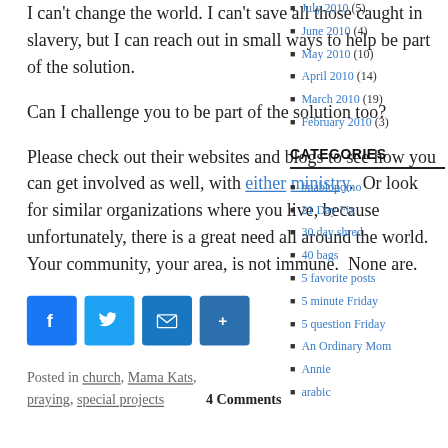I can't change the world. I can't save all those caught in slavery, but I can reach out in small ways to help be part of the solution.
Can I challenge you to be part of the solution too?
Please check out their websites and blogs to see how you can get involved as well, with either ministry. Or look for similar organizations where you live, because unfortunately, there is a great need all around the world. Your community, your area, is not immune. None are.
[Figure (infographic): Social sharing buttons: Facebook (blue), Twitter (blue), Email (blue), Share (blue)]
Posted in church, Mama Kats, praying, special projects   4 Comments
July 2010 (5)
June 2010 (4)
May 2010 (10)
April 2010 (14)
March 2010 (19)
February 2010 (3)
CATEGORIES
#nablopomo
21 Day Fix
30 day shred
40 bags
5 favorite posts
5 minute Friday
5 question Friday
An Ordinary Mom
Annie
arabic